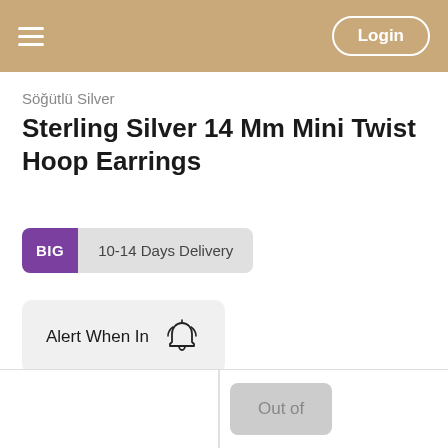Login
Söğütlü Silver
Sterling Silver 14 Mm Mini Twist Hoop Earrings
BIG  10-14 Days Delivery
Alert When In Stock
Out of